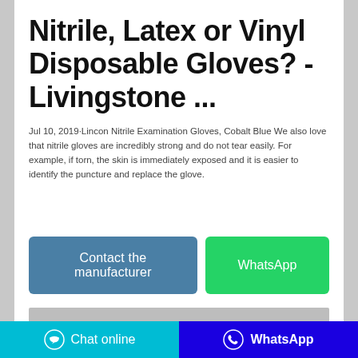Nitrile, Latex or Vinyl Disposable Gloves? - Livingstone ...
Jul 10, 2019·Lincon Nitrile Examination Gloves, Cobalt Blue We also love that nitrile gloves are incredibly strong and do not tear easily. For example, if torn, the skin is immediately exposed and it is easier to identify the puncture and replace the glove.
[Figure (screenshot): Two call-to-action buttons: 'Contact the manufacturer' (blue) and 'WhatsApp' (green)]
[Figure (screenshot): Grey image placeholder bar]
Chat online   WhatsApp